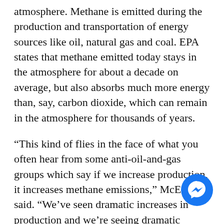atmosphere. Methane is emitted during the production and transportation of energy sources like oil, natural gas and coal. EPA states that methane emitted today stays in the atmosphere for about a decade on average, but also absorbs much more energy than, say, carbon dioxide, which can remain in the atmosphere for thousands of years.
“This kind of flies in the face of what you often hear from some anti-oil-and-gas groups which say if we increase production, it increases methane emissions,” McEntyre said. “We’ve seen dramatic increases in production and we’re seeing dramatic declines in methane intensity.”
Luke Metzger, the Executive Director of
[Figure (other): Facebook Messenger chat button icon, circular blue button with white lightning bolt / messenger logo]